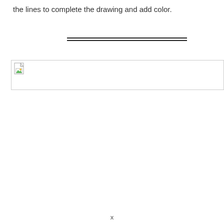the lines to complete the drawing and add color.
[Figure (illustration): Double horizontal line used as a drawing guide or separator]
[Figure (illustration): Broken image placeholder with small image icon in the top-left corner, representing a missing drawing or illustration area]
x